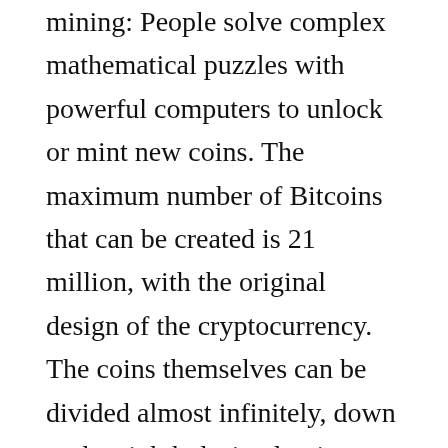mining: People solve complex mathematical puzzles with powerful computers to unlock or mint new coins. The maximum number of Bitcoins that can be created is 21 million, with the original design of the cryptocurrency. The coins themselves can be divided almost infinitely, down to the eighth decimal point or into hundreds of millions.
In its early days, Bitcoin was nothing more than an anarchic project, says Caitlin Long, founder and CEO of Avanti Bank, a crypto-focused charter bank in Wyoming. That's changed. She said: It's always on the rise, it's always technical, but it's now commonplace